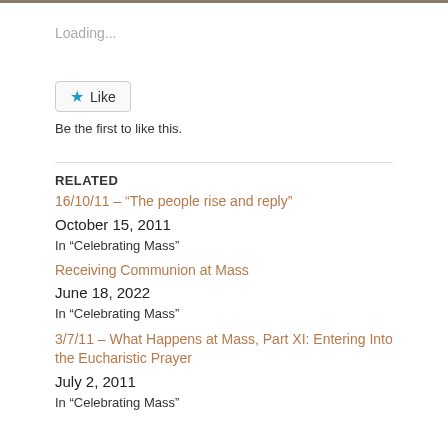Loading...
[Figure (other): Like button with blue star icon and text 'Like']
Be the first to like this.
RELATED
16/10/11 – “The people rise and reply”
October 15, 2011
In “Celebrating Mass”
Receiving Communion at Mass
June 18, 2022
In “Celebrating Mass”
3/7/11 – What Happens at Mass, Part XI: Entering Into the Eucharistic Prayer
July 2, 2011
In “Celebrating Mass”